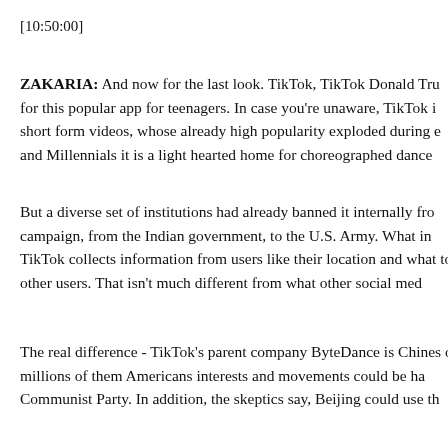[10:50:00]
ZAKARIA: And now for the last look. TikTok, TikTok Donald Tru for this popular app for teenagers. In case you're unaware, TikTok i short form videos, whose already high popularity exploded during e and Millennials it is a light hearted home for choreographed dance
But a diverse set of institutions had already banned it internally fro campaign, from the Indian government, to the U.S. Army. What in TikTok collects information from users like their location and what to other users. That isn't much different from what other social med
The real difference - TikTok's parent company ByteDance is Chines of millions of them Americans interests and movements could be ha Communist Party. In addition, the skeptics say, Beijing could use th